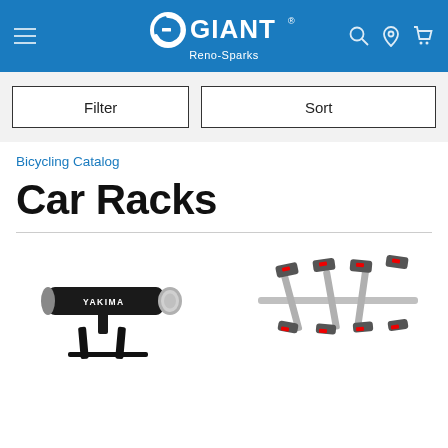[Figure (screenshot): Giant Bicycles Reno-Sparks website header with blue background, hamburger menu icon on left, Giant logo with 'Reno-Sparks' subtitle in center, and search/location/cart icons on right]
[Figure (screenshot): Filter and Sort buttons on a light gray background]
Bicycling Catalog
Car Racks
[Figure (photo): Yakima bike car rack product - black cylindrical rack on stand]
[Figure (photo): Multi-bike hitch car rack with arm holders, silver and black]